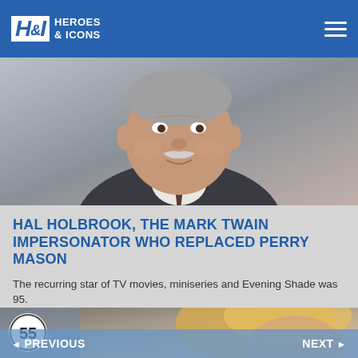H&I Heroes & Icons
[Figure (photo): Elderly man with white mustache, wearing a dark suit, smiling — Hal Holbrook]
HAL HOLBROOK, THE MARK TWAIN IMPERSONATOR WHO REPLACED PERRY MASON
The recurring star of TV movies, miniseries and Evening Shade was 95.
[Figure (photo): Partial photo of a blonde woman, with badge showing number 55]
◄ PREVIOUS    NEXT ►